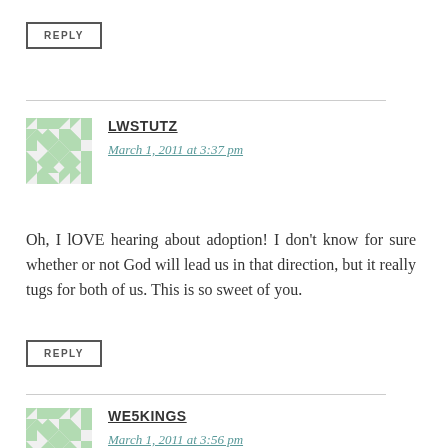REPLY
LWSTUTZ
March 1, 2011 at 3:37 pm
Oh, I lOVE hearing about adoption! I don't know for sure whether or not God will lead us in that direction, but it really tugs for both of us. This is so sweet of you.
REPLY
WE5KINGS
March 1, 2011 at 3:56 pm